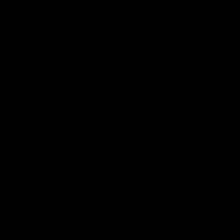Sumac-The Deal-Japanese Edition-2015-r35
Sun And The Wolf-Salutations-WEB-2014-LEV
Sungrazer-Sungrazer-Promo-LP-2010-ERP
Sunrise Avenue-Fairytales-Best Of 2006-2014 (O
Superhuman Happiness-Escape Velocity-WEB-20
Surrogates-I Made You Something-WEB-2015-C
Suspect-Wrong Place At The Right Time EP-WE
Suzens Garden--Stronger-2015-OMA
Sven Hammond-IV-2015-gnvr
Swans-Filth-(Deluxe Edition)-PROPER-3CD-20
Swans-Filth (Deluxe Edition)-WEB-2015-COUR
Swans-Oxygen-EP-2015-r35
Swans-The Gate-2CD-2015-r35
Sweat Lodge-Talismana-LP-2015-ERP
Sweet Cobra-Earth-WEB-2015-COURAGE
Swervedriver-I Wasnt Born To Lose You-2015-FL
Sylvan - Home-2015-CMG
T.Rex-The Albums Collection-(EDSB 4015)-10C
T Hardy Morris-Hardy and The Hardknocks Dro
Take One Car-Everyone You Know Is Here Right
Tall Tales And The Silver Lining-Tightropes-201
Tame Impala-Currents-2015-FNT
Taylor Locke-Time Stands Still-2015-404
Teddybears Sthlm - Rock n Roll Highschool-200
Teen Men-Teen Men-WEB-2015-COURAGE